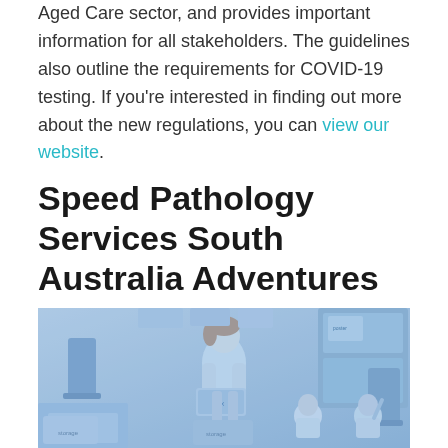Aged Care sector, and provides important information for all stakeholders. The guidelines also outline the requirements for COVID-19 testing. If you're interested in finding out more about the new regulations, you can view our website.
Speed Pathology Services South Australia Adventures
[Figure (photo): A blue-tinted photograph of a teacher or adult woman standing in a classroom holding a box, with two young children seated nearby. The classroom has chairs, desks, and wall posters visible.]